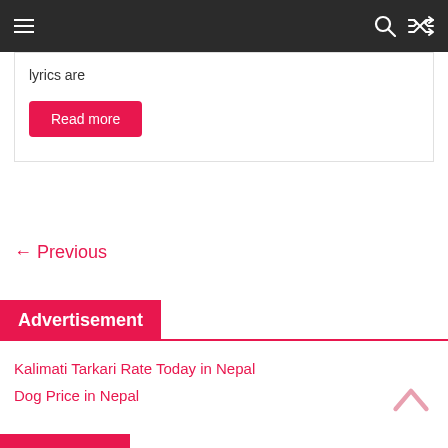Navigation bar with hamburger menu, search icon, and shuffle icon
lyrics are
Read more
← Previous
Advertisement
Kalimati Tarkari Rate Today in Nepal
Dog Price in Nepal